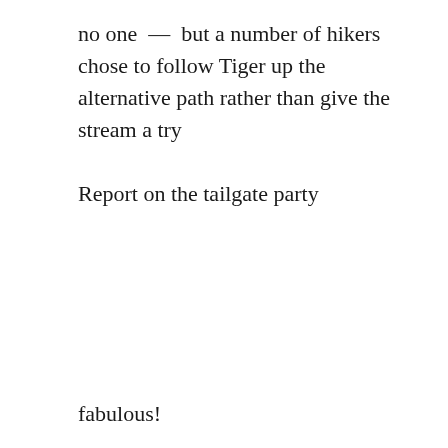no one  —  but a number of hikers chose to follow Tiger up the alternative path rather than give the stream a try
Report on the tailgate party
fabulous!